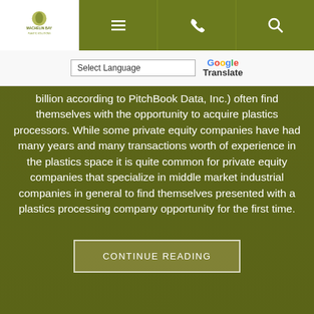Machelin Bay logo and navigation bar with menu, phone, and search icons
Select Language | Google Translate
billion according to PitchBook Data, Inc.) often find themselves with the opportunity to acquire plastics processors. While some private equity companies have had many years and many transactions worth of experience in the plastics space it is quite common for private equity companies that specialize in middle market industrial companies in general to find themselves presented with a plastics processing company opportunity for the first time.
CONTINUE READING